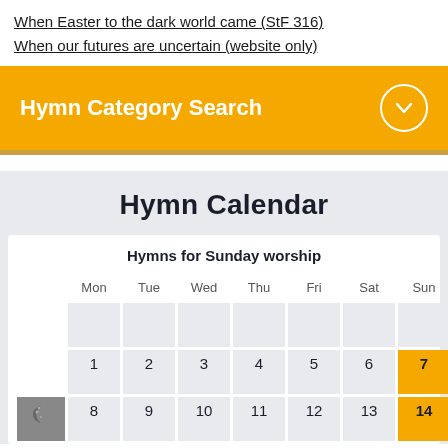When Easter to the dark world came (StF 316)
When our futures are uncertain (website only)
Hymn Category Search
Hymn Calendar
Hymns for Sunday worship
| Mon | Tue | Wed | Thu | Fri | Sat | Sun |
| --- | --- | --- | --- | --- | --- | --- |
|  |  |  |  |  |  |  |
| 1 | 2 | 3 | 4 | 5 | 6 | 7 |
| 8 | 9 | 10 | 11 | 12 | 13 | 14 |